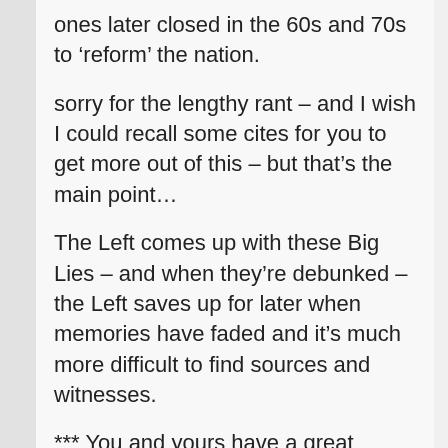ones later closed in the 60s and 70s to ‘reform’ the nation.
sorry for the lengthy rant – and I wish I could recall some cites for you to get more out of this – but that’s the main point…
The Left comes up with these Big Lies – and when they’re debunked – the Left saves up for later when memories have faded and it’s much more difficult to find sources and witnesses.
*** You and yours have a great week!
Loading...